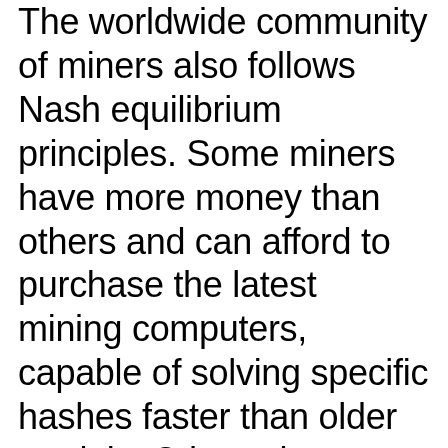The worldwide community of miners also follows Nash equilibrium principles. Some miners have more money than others and can afford to purchase the latest mining computers, capable of solving specific hashes faster than older models. Other miners may not have as much money, but they live in areas where electricity is less expensive. They can, therefore, spend less than wealthier miners